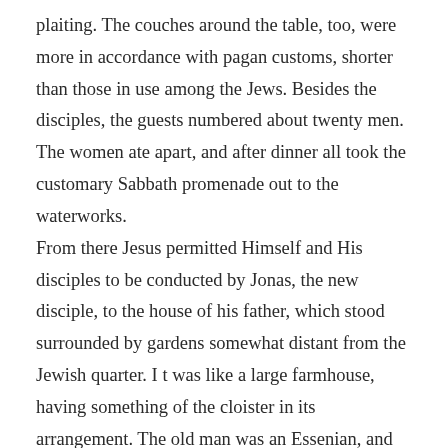plaiting. The couches around the table, too, were more in accordance with pagan customs, shorter than those in use among the Jews. Besides the disciples, the guests numbered about twenty men. The women ate apart, and after dinner all took the customary Sabbath promenade out to the waterworks.
From there Jesus permitted Himself and His disciples to be conducted by Jonas, the new disciple, to the house of his father, which stood surrounded by gardens somewhat distant from the Jewish quarter. I t was like a large farmhouse, having something of the cloister in its arrangement. The old man was an Essenian, and with him dwelt, though in a separate part of the house, several old women, widowed relatives, nieces or daughters, who were somewhat differently clothed and wore white veils. The old man was humble and joyous as a child, and allowed himself to